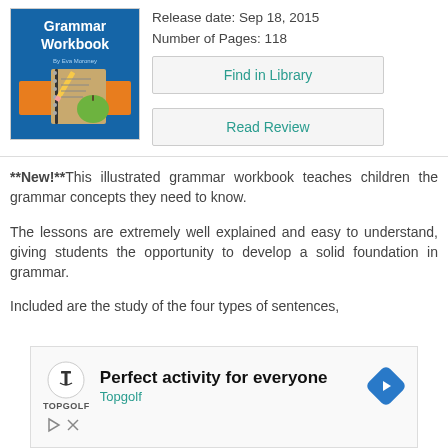[Figure (illustration): Book cover for Grammar Workbook showing title text, school supplies, a green apple, and a spiral notebook on a blue background]
Release date: Sep 18, 2015
Number of Pages: 118
Find in Library
Read Review
**New!**This illustrated grammar workbook teaches children the grammar concepts they need to know.
The lessons are extremely well explained and easy to understand, giving students the opportunity to develop a solid foundation in grammar.
Included are the study of the four types of sentences,
[Figure (other): Advertisement for Topgolf: Perfect activity for everyone, with Topgolf logo and diamond-shaped arrow icon]